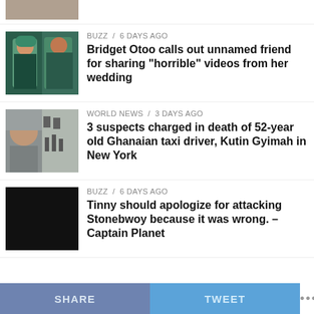[Figure (photo): Partial thumbnail of people at top of page, cut off]
(partial headline cut off at top)
[Figure (photo): Photo of Bridget Otoo and partner in teal/green outfits at wedding]
BUZZ / 6 days ago
Bridget Otoo calls out unnamed friend for sharing "horrible" videos from her wedding
[Figure (photo): Collage of two images: a man's face on the left, surveillance footage on the right]
WORLD NEWS / 3 days ago
3 suspects charged in death of 52-year old Ghanaian taxi driver, Kutin Gyimah in New York
[Figure (photo): Black/dark thumbnail image]
BUZZ / 6 days ago
Tinny should apologize for attacking Stonebwoy because it was wrong. – Captain Planet
SHARE   TWEET   ...